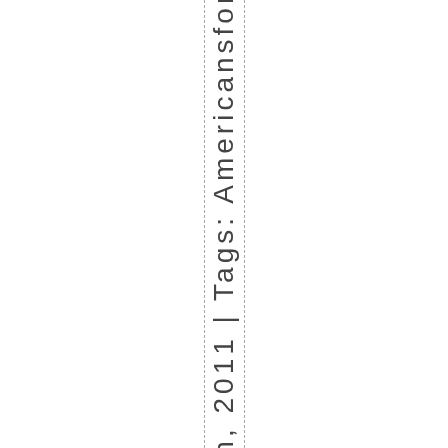th, 2011 | Tags: Americansfort